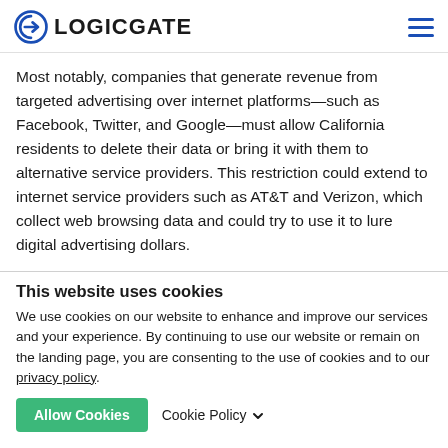LOGICGATE
Most notably, companies that generate revenue from targeted advertising over internet platforms—such as Facebook, Twitter, and Google—must allow California residents to delete their data or bring it with them to alternative service providers. This restriction could extend to internet service providers such as AT&T and Verizon, which collect web browsing data and could try to use it to lure digital advertising dollars.
This website uses cookies
We use cookies on our website to enhance and improve our services and your experience. By continuing to use our website or remain on the landing page, you are consenting to the use of cookies and to our privacy policy.
Allow Cookies   Cookie Policy